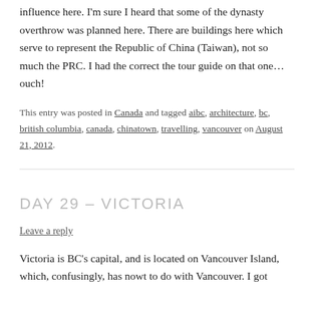influence here. I'm sure I heard that some of the dynasty overthrow was planned here. There are buildings here which serve to represent the Republic of China (Taiwan), not so much the PRC. I had the correct the tour guide on that one…ouch!
This entry was posted in Canada and tagged aibc, architecture, bc, british columbia, canada, chinatown, travelling, vancouver on August 21, 2012.
DAY 29 – VICTORIA
Leave a reply
Victoria is BC's capital, and is located on Vancouver Island, which, confusingly, has nowt to do with Vancouver. I got